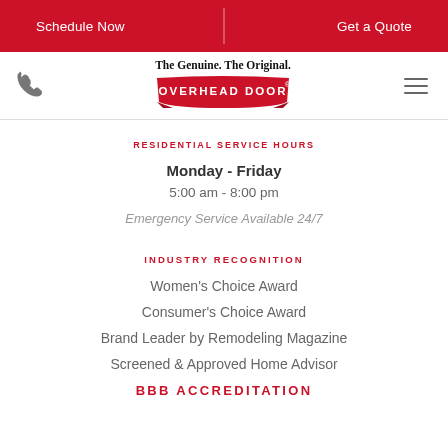Schedule Now | Get a Quote
[Figure (logo): Overhead Door logo with tagline 'The Genuine. The Original.' and red banner badge]
RESIDENTIAL SERVICE HOURS
Monday - Friday
5:00 am - 8:00 pm
Emergency Service Available 24/7
INDUSTRY RECOGNITION
Women's Choice Award
Consumer's Choice Award
Brand Leader by Remodeling Magazine
Screened & Approved Home Advisor
BBB Accreditation